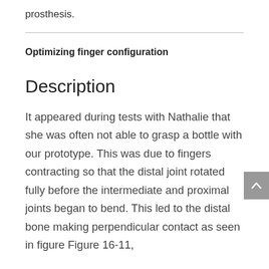prosthesis.
Optimizing finger configuration
Description
It appeared during tests with Nathalie that she was often not able to grasp a bottle with our prototype. This was due to fingers contracting so that the distal joint rotated fully before the intermediate and proximal joints began to bend. This led to the distal bone making perpendicular contact as seen in figure Figure 16-11,